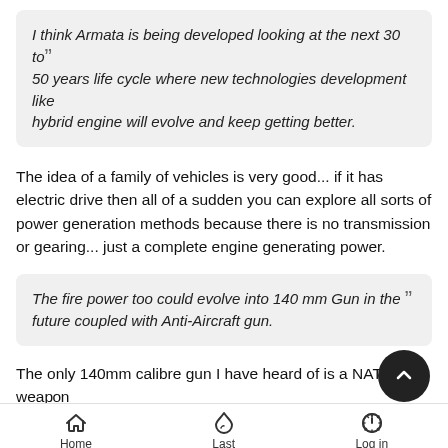I think Armata is being developed looking at the next 30 to 50 years life cycle where new technologies development like hybrid engine will evolve and keep getting better.
The idea of a family of vehicles is very good... if it has electric drive then all of a sudden you can explore all sorts of power generation methods because there is no transmission or gearing... just a complete engine generating power.
The fire power too could evolve into 140 mm Gun in the future coupled with Anti-Aircraft gun.
The only 140mm calibre gun I have heard of is a NATO weapon and I rather doubt they will share that technology with Russia...
Home  Last  Log in